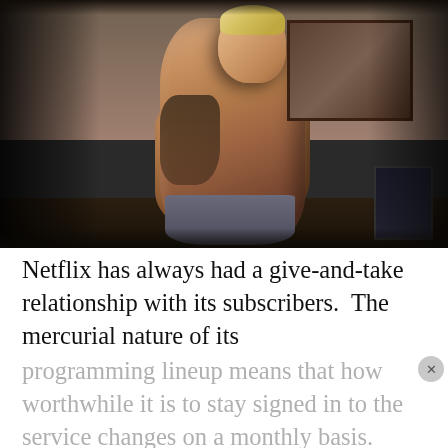[Figure (photo): A shirtless tattooed man with blonde hair looking down, holding something in his hands, standing in a dimly lit room with a framed picture on the wall behind him and a TV screen to the right]
Netflix has always had a give-and-take relationship with its subscribers.  The mercurial nature of its programming lineup means that how worthwhile it is to stay signed in to the service changes on a monthly basis.